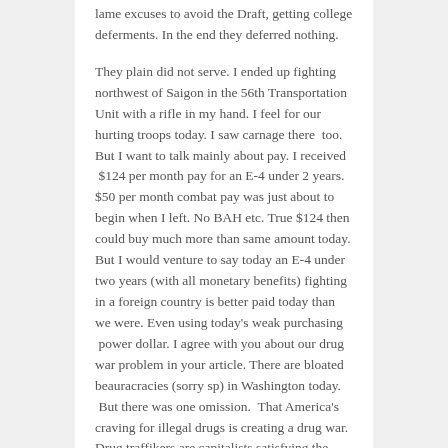lame excuses to avoid the Draft, getting college deferments. In the end they deferred nothing.
They plain did not serve. I ended up fighting northwest of Saigon in the 56th Transportation Unit with a rifle in my hand. I feel for our hurting troops today. I saw carnage there  too. But I want to talk mainly about pay. I received  $124 per month pay for an E-4 under 2 years. $50 per month combat pay was just about to begin when I left. No BAH etc. True $124 then could buy much more than same amount today. But I would venture to say today an E-4 under two years (with all monetary benefits) fighting in a foreign country is better paid today than we were. Even using today's weak purchasing  power dollar. I agree with you about our drug war problem in your article. There are bloated beauracracies (sorry sp) in Washington today.  But there was one omission.  That America's craving for illegal drugs is creating a drug war. Drug traffikers are capitalists satisfying the market.  Thank you.
— Ernesto Romero, San Diego
To the Editor: